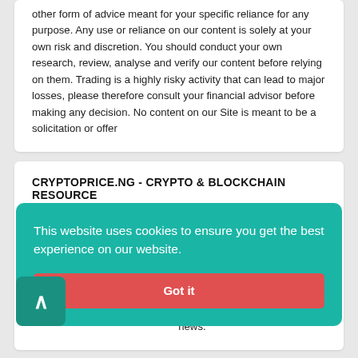other form of advice meant for your specific reliance for any purpose. Any use or reliance on our content is solely at your own risk and discretion. You should conduct your own research, review, analyse and verify our content before relying on them. Trading is a highly risky activity that can lead to major losses, please therefore consult your financial advisor before making any decision. No content on our Site is meant to be a solicitation or offer
CRYPTOPRICE.NG - CRYPTO & BLOCKCHAIN RESOURCE
CryptoPrice.Ng is a financial platform that provides daily the most trusted financial market and crypto information. It shows the most accurate live prices, charts and market rates from trusted top crypto exchanges globally, with over 2100+ …a. The website …news.
This website uses cookies to ensure you get the best experience on our website.
Got it